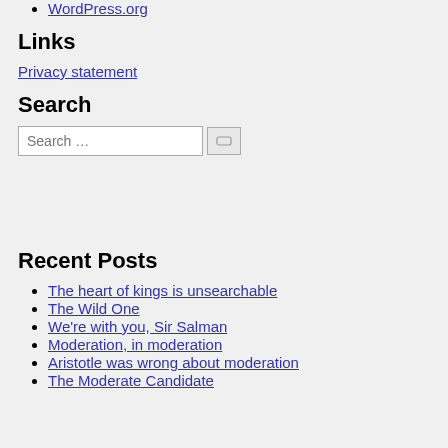WordPress.org
Links
Privacy statement
Search
Search …
Recent Posts
The heart of kings is unsearchable
The Wild One
We're with you, Sir Salman
Moderation, in moderation
Aristotle was wrong about moderation
The Moderate Candidate